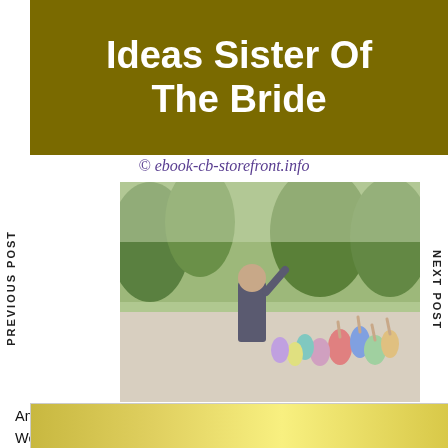Ideas Sister Of The Bride
[Figure (photo): Watermark text: © ebook-cb-storefront.info]
[Figure (photo): Outdoor wedding photo showing a man in a suit facing a crowd of guests with hands raised, surrounded by trees]
PREVIOUS POST
NEXT POST
Amazing Ideas Wedding Speech For Your Brother Unique Wedding Speech Ideas Unique Wedding Speech Wedding Speech Sister Wedding Speeches Wedding Speech Examples
[Figure (photo): Bottom partially visible image with yellow/gold background]